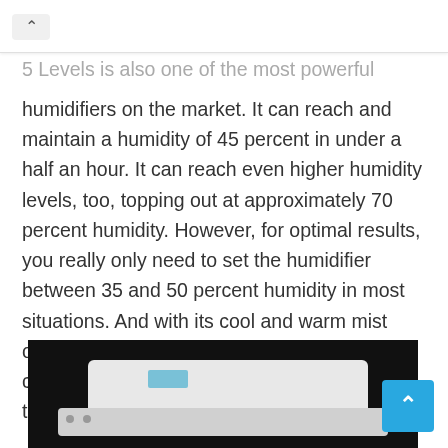5 Levels is also one of the most powerful humidifiers on the market. It can reach and maintain a humidity of 45 percent in under a half an hour. It can reach even higher humidity levels, too, topping out at approximately 70 percent humidity. However, for optimal results, you really only need to set the humidifier between 35 and 50 percent humidity in most situations. And with its cool and warm mist options, you will have a wide range of customization as well as comfort available at the push of a button.
[Figure (photo): Close-up photo of a white humidifier device against a dark background, showing the top and front panel with silver/white casing and a small blue accent.]